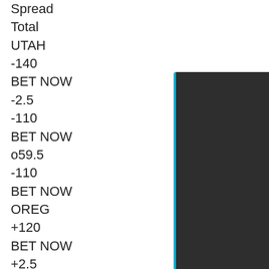Spread
Total
UTAH
-140
BET NOW
-2.5
-110
BET NOW
o59.5
-110
BET NOW
OREG
+120
BET NOW
+2.5
-110
BET NOW
u59.5
-110